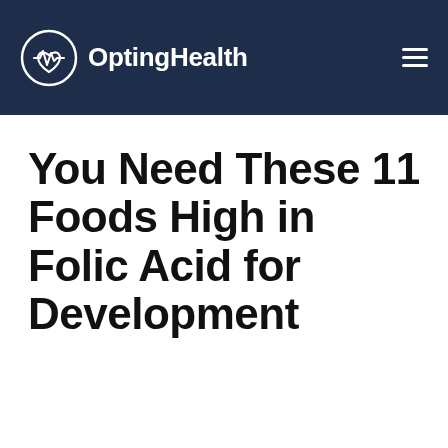OptingHealth
You Need These 11 Foods High in Folic Acid for Development